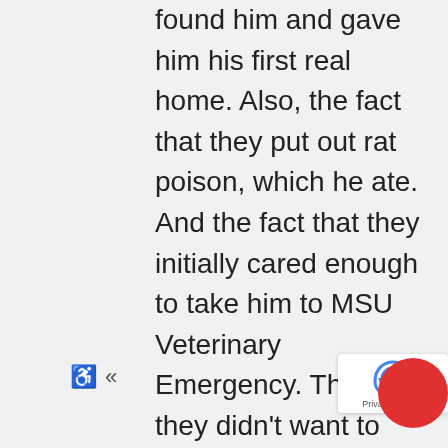found him and gave him his first real home. Also, the fact that they put out rat poison, which he ate. And the fact that they initially cared enough to take him to MSU Veterinary Emergency. Then that they didn't want to pay the bill and left him there. In addition, the billing staff that accidentally allowed those people to leave the premises without putting down a required deposit. Thanks to the staff, residents, and students at MSU for taking great medical care of him. And any student that happened to walk him, or give him loving attention for the 45 days that he was at the College of Veterinary Medicine, in Ward 4, all by himself. Thanks to all my classmates, and technician students, who socialized him around the hospital. And rasound rotation for showing me that he could care less about different animals being